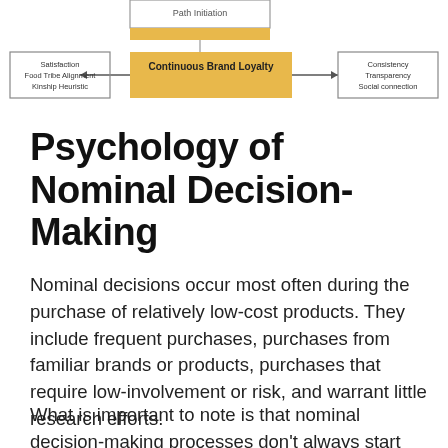[Figure (flowchart): Flowchart showing 'Continuous Brand Loyalty' in a gold/yellow box in the center, with arrows pointing left to a box containing 'Satisfaction, Food Tribe Alignment, Kinship Heuristic', and arrows pointing right to a box containing 'Consistency, Transparency, Social connection'. Above, a partial box is visible labeled 'Path Initiation'.]
Psychology of Nominal Decision-Making
Nominal decisions occur most often during the purchase of relatively low-cost products. They include frequent purchases, purchases from familiar brands or products, purchases that require low-involvement or risk, and warrant little research efforts.
What is important to note is that nominal decision-making processes don't always start